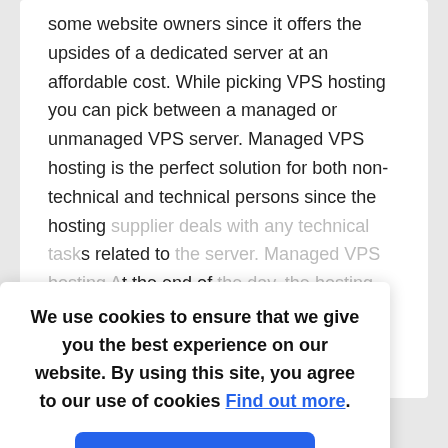some website owners since it offers the upsides of a dedicated server at an affordable cost. While picking VPS hosting you can pick between a managed or unmanaged VPS server. Managed VPS hosting is the perfect solution for both non-technical and technical persons since the hosting supplier deals with any technical tasks related to the server. Managed VPS hosting At the end of the day, the hosting company is in charge of dealing with. By using this site, you m upgrades
We use cookies to ensure that we give you the best experience on our website. By using this site, you agree to our use of cookies Find out more.
Read More
Accept